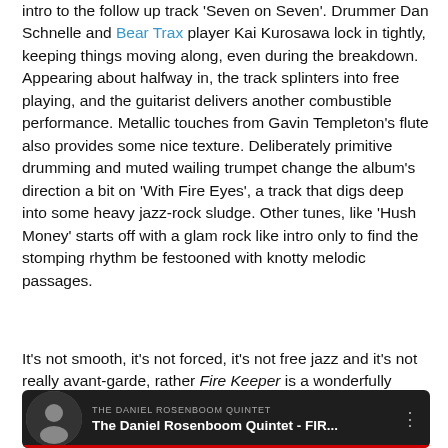intro to the follow up track 'Seven on Seven'. Drummer Dan Schnelle and Bear Trax player Kai Kurosawa lock in tightly, keeping things moving along, even during the breakdown. Appearing about halfway in, the track splinters into free playing, and the guitarist delivers another combustible performance. Metallic touches from Gavin Templeton's flute also provides some nice texture. Deliberately primitive drumming and muted wailing trumpet change the album's direction a bit on 'With Fire Eyes', a track that digs deep into some heavy jazz-rock sludge. Other tunes, like 'Hush Money' starts off with a glam rock like intro only to find the stomping rhythm be festooned with knotty melodic passages.
It's not smooth, it's not forced, it's not free jazz and it's not really avant-garde, rather Fire Keeper is a wonderfully fresh take on the maligned f-word genre, and to my ears it's an album that shows how much life there still is in it.
[Figure (screenshot): YouTube video thumbnail for 'The Daniel Rosenboom Quintet - FIR...' with dark background, channel name 'THE DANIEL ROSENBOOM QUINTET', artist avatar on left, and red decorative element at bottom.]